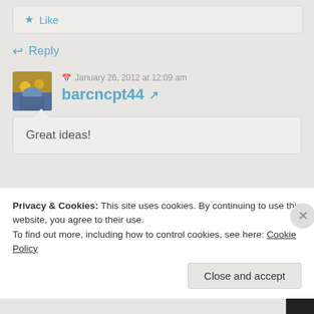★ Like
↩ Reply
January 26, 2012 at 12:09 am
barcncpt44 ↗
[Figure (photo): User avatar photo showing colorful lights and a person]
Great ideas!
Privacy & Cookies: This site uses cookies. By continuing to use this website, you agree to their use.
To find out more, including how to control cookies, see here: Cookie Policy
Close and accept